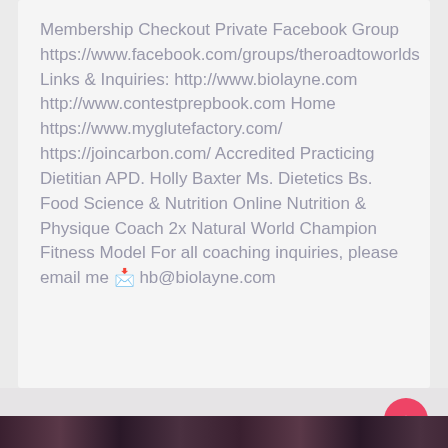Membership Checkout Private Facebook Group https://www.facebook.com/groups/theroadtoworlds Links & Inquiries: http://www.biolayne.com http://www.contestprepbook.com Home https://www.myglutefactory.com/ https://joincarbon.com/ Accredited Practicing Dietitian APD. Holly Baxter Ms. Dietetics Bs. Food Science & Nutrition Online Nutrition & Physique Coach 2x Natural World Champion Fitness Model For all coaching inquiries, please email me 📩 hb@biolayne.com